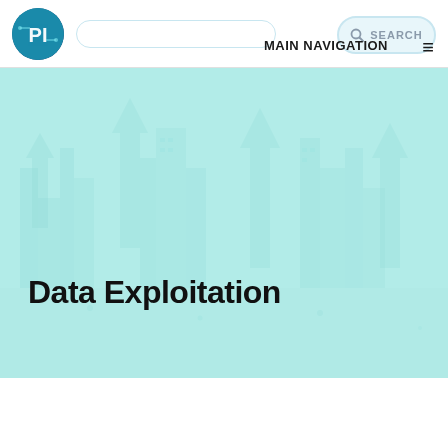PI [logo] | [search box] | SEARCH | MAIN NAVIGATION ≡
[Figure (illustration): Hero banner with light teal/mint background featuring faded city skyline with upward arrows watermark pattern]
Data Exploitation
LEARN